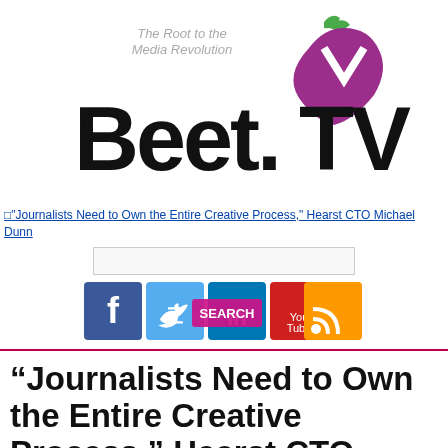[Figure (logo): Beet.TV logo with tagline 'The Root to the Media Revolution' and beet/turnip icon in purple/green]
"Journalists Need to Own the Entire Creative Process," Hearst CTO Michael Dunn
[Figure (screenshot): Search bar and social media icons: Facebook (blue), Twitter (blue), LinkedIn (blue), YouTube (red), RSS (orange), with a pink/magenta SEARCH overlay]
“Journalists Need to Own the Entire Creative Process,” Hearst CTO Michael Dunn